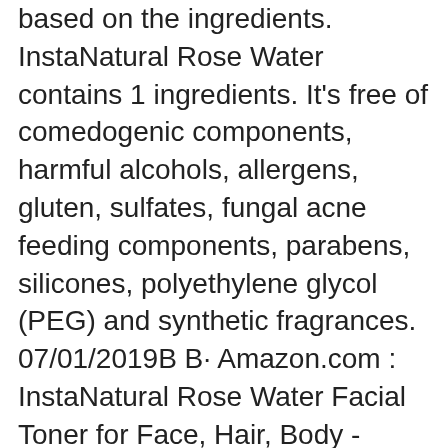based on the ingredients. InstaNatural Rose Water contains 1 ingredients. It's free of comedogenic components, harmful alcohols, allergens, gluten, sulfates, fungal acne feeding components, parabens, silicones, polyethylene glycol (PEG) and synthetic fragrances. 07/01/2019B B· Amazon.com : InstaNatural Rose Water Facial Toner for Face, Hair, Body - Organic, Natural Anti Aging Mist - Eau Fraiche - Alcohol Free - Hydrating Primer & Setting Spray for Pore Minimizing & Tightening - 4 OZ : Beauty
Our Vitamin C Toner is an all-in-one hydrator infused with anti-aging ingredients that will leave skin feeling